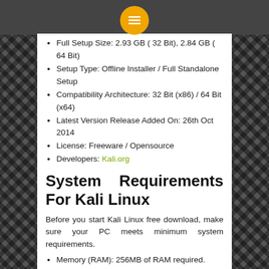[Figure (logo): Orange circle with white hamburger menu icon on dark gray top bar]
Full Setup Size: 2.93 GB ( 32 Bit), 2.84 GB ( 64 Bit)
Setup Type: Offline Installer / Full Standalone Setup
Compatibility Architecture: 32 Bit (x86) / 64 Bit (x64)
Latest Version Release Added On: 26th Oct 2014
License: Freeware / Opensource
Developers: Kali.org
System Requirements For Kali Linux
Before you start Kali Linux free download, make sure your PC meets minimum system requirements.
Memory (RAM): 256MB of RAM required.
Hard Disk Space: 1GB of free space required.
Processor: Intel Pentium 4 or later.
Kali Linux Free Download
Click on below button to start Kali Linux Free Download.